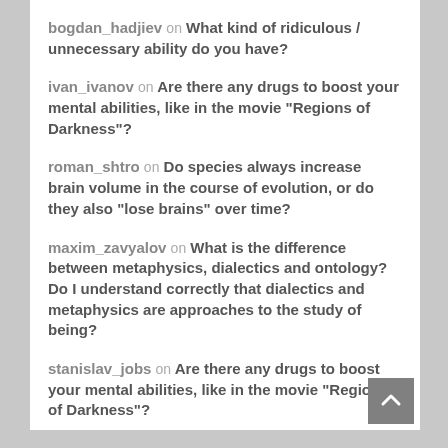bogdan_hadjiev on What kind of ridiculous / unnecessary ability do you have?
ivan_ivanov on Are there any drugs to boost your mental abilities, like in the movie "Regions of Darkness"?
roman_shtro on Do species always increase brain volume in the course of evolution, or do they also "lose brains" over time?
maxim_zavyalov on What is the difference between metaphysics, dialectics and ontology? Do I understand correctly that dialectics and metaphysics are approaches to the study of being?
stanislav_jobs on Are there any drugs to boost your mental abilities, like in the movie "Regions of Darkness"?